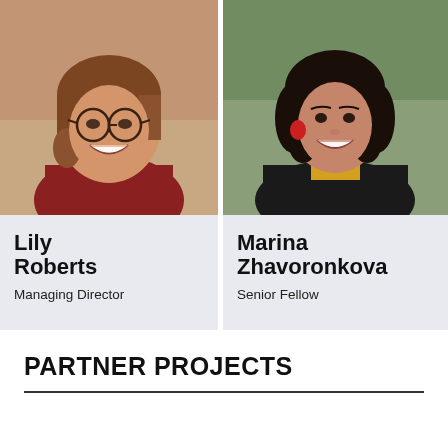[Figure (photo): Headshot of Lily Roberts, a woman with glasses and brown hair, smiling, wearing a red top]
Lily Roberts
Managing Director
[Figure (photo): Headshot of Marina Zhavoronkova, a woman with dark curly hair, smiling, wearing a black jacket over yellow top with red earrings]
Marina Zhavoronkova
Senior Fellow
PARTNER PROJECTS